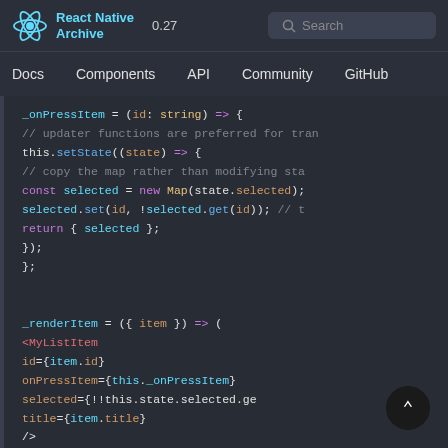React Native Archive 0.27 | Search | Docs | Components | API | Community | GitHub
[Figure (screenshot): React Native Archive documentation page showing JavaScript/JSX code snippet with syntax highlighting. Code shows _onPressItem and _renderItem methods with Map usage and setState.]